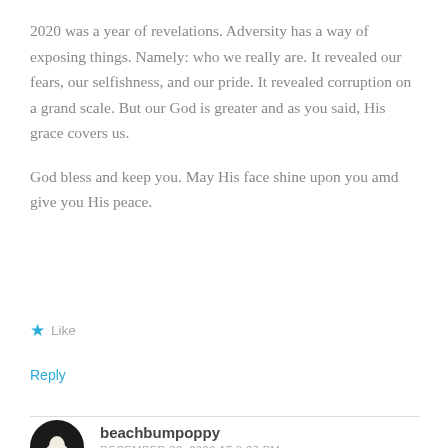2020 was a year of revelations. Adversity has a way of exposing things. Namely: who we really are. It revealed our fears, our selfishness, and our pride. It revealed corruption on a grand scale. But our God is greater and as you said, His grace covers us.
God bless and keep you. May His face shine upon you amd give you His peace.
★ Like
Reply
beachbumpoppy
DECEMBER 30, 2020 AT 8:27 PM